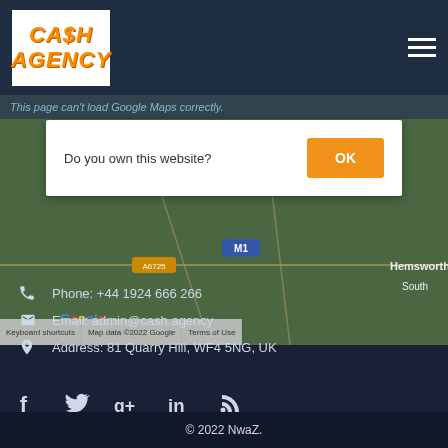[Figure (screenshot): Website header with Cash Agency logo on left and hamburger menu on right, over a dark navy background]
[Figure (map): Google Maps embedded map showing an area with M1 motorway, Hemsworth label, South label, and a Google Maps error dialog saying 'This page can't load Google Maps correctly.' with 'Do you own this website?' and an OK button]
Phone: +44 1924 666 266
Email: admin@cash.agency
Address: 81 Quarry Hill, WF4 5NG, UK
[Figure (screenshot): Social media icons: Facebook, Twitter, Google+, LinkedIn, RSS]
© 2022 NwaZ.